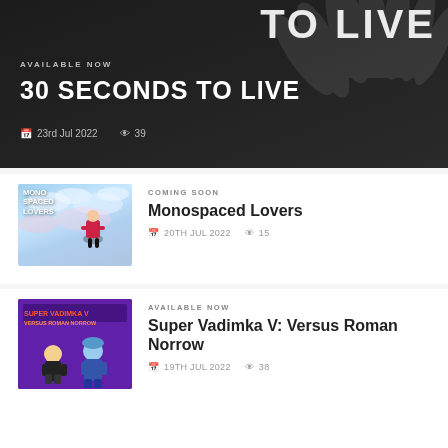[Figure (screenshot): Hero banner with dark background showing hands and large text '30 SECONDS TO LIVE']
AVAILABLE NOW
30 SECONDS TO LIVE
23rd Jul 2022  39
[Figure (illustration): Anime-style illustration for Monospaced Lovers with blue sky background and character]
COMING SOON
Monospaced Lovers
20TH JUL 2022  15
[Figure (illustration): Purple-themed game art for Super Vadimka V: Versus Roman Norrow]
AVAILABLE NOW
Super Vadimka V: Versus Roman Norrow
19TH JUL 2022  38